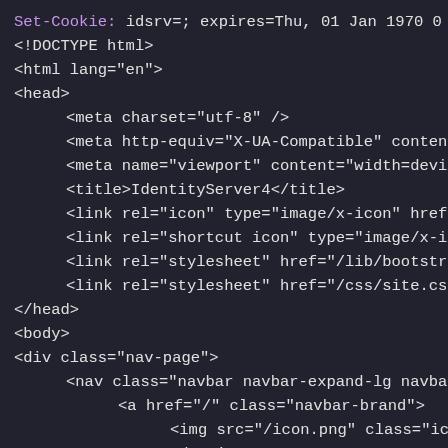[Figure (screenshot): Dark-themed browser developer tools or code viewer showing HTML source code with HTTP Set-Cookie header at top, followed by DOCTYPE declaration and HTML markup for IdentityServer4 page including head and body elements with nav structure.]